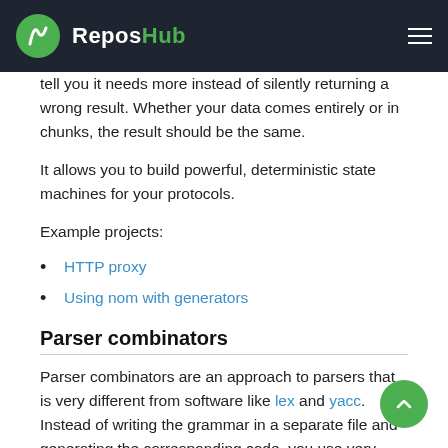ReposHub
tell you it needs more instead of silently returning a wrong result. Whether your data comes entirely or in chunks, the result should be the same.
It allows you to build powerful, deterministic state machines for your protocols.
Example projects:
HTTP proxy
Using nom with generators
Parser combinators
Parser combinators are an approach to parsers that is very different from software like lex and yacc. Instead of writing the grammar in a separate file and generating the corresponding code, you use very